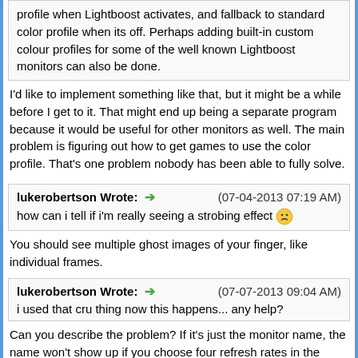profile when Lightboost activates, and fallback to standard color profile when its off. Perhaps adding built-in custom colour profiles for some of the well known Lightboost monitors can also be done.
I'd like to implement something like that, but it might be a while before I get to it. That might end up being a separate program because it would be useful for other monitors as well. The main problem is figuring out how to get games to use the color profile. That's one problem nobody has been able to fully solve.
lukerobertson Wrote: ➔ (07-04-2013 07:19 AM)
how can i tell if i'm really seeing a strobing effect 😕
You should see multiple ghost images of your finger, like individual frames.
lukerobertson Wrote: ➔ (07-07-2013 09:04 AM)
i used that cru thing now this happens... any help?
Can you describe the problem? If it's just the monitor name, the name won't show up if you choose four refresh rates in the setup program, but that's purely cosmetic and doesn't affect anything.